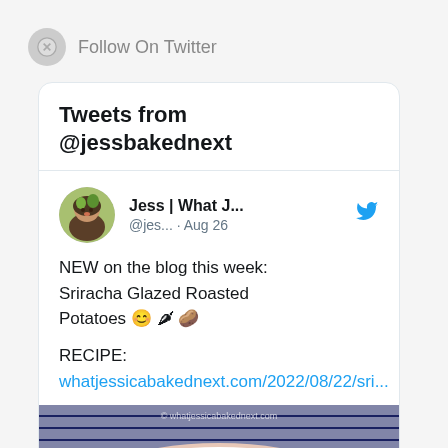Follow On Twitter
Tweets from @jessbakednext
Jess | What J... @jes... · Aug 26
NEW on the blog this week: Sriracha Glazed Roasted Potatoes 😊🌶🥔
RECIPE: whatjessicabakednext.com/2022/08/22/sri...
[Figure (photo): Photo of sriracha glazed roasted potatoes on a decorative plate with blue striped background, watermark © whatjessicabakednext.com]